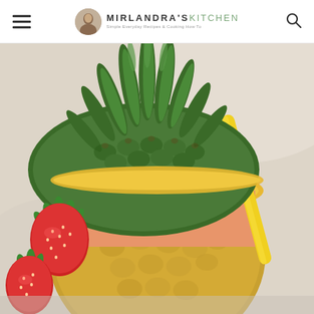Mirlandra's Kitchen — Simple Everyday Recipes & Cooking How To
[Figure (photo): A pineapple hollowed out and used as a cup filled with a pink/peach strawberry-pineapple smoothie, garnished with a fresh strawberry and a bright yellow straw. The pineapple top is placed back on as a lid. Background is light/cream colored.]